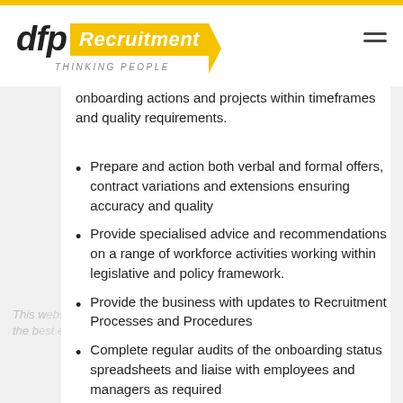[Figure (logo): DFP Recruitment logo with yellow banner and 'Thinking People' tagline]
onboarding actions and projects within timeframes and quality requirements.
Prepare and action both verbal and formal offers, contract variations and extensions ensuring accuracy and quality
Provide specialised advice and recommendations on a range of workforce activities working within legislative and policy framework.
Provide the business with updates to Recruitment Processes and Procedures
Complete regular audits of the onboarding status spreadsheets and liaise with employees and managers as required